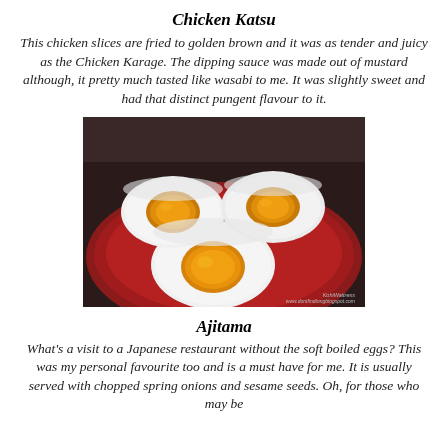Chicken Katsu
This chicken slices are fried to golden brown and it was as tender and juicy as the Chicken Karage. The dipping sauce was made out of mustard although, it pretty much tasted like wasabi to me. It was slightly sweet and had that distinct pungent flavour to it.
[Figure (photo): Photo of soft boiled Japanese eggs (ajitama) cut in half, showing runny orange yolks, served on a red plate. Watermark text: KohiWaitress www.dontfindtongblogspot.com]
Ajitama
What's a visit to a Japanese restaurant without the soft boiled eggs? This was my personal favourite too and is a must have for me. It is usually served with chopped spring onions and sesame seeds. Oh, for those who may be